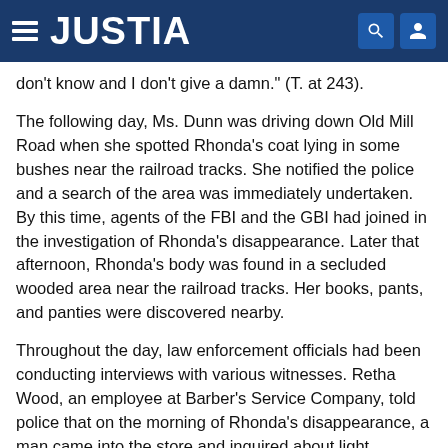JUSTIA
don't know and I don't give a damn." (T. at 243).
The following day, Ms. Dunn was driving down Old Mill Road when she spotted Rhonda's coat lying in some bushes near the railroad tracks. She notified the police and a search of the area was immediately undertaken. By this time, agents of the FBI and the GBI had joined in the investigation of Rhonda's disappearance. Later that afternoon, Rhonda's body was found in a secluded wooded area near the railroad tracks. Her books, pants, and panties were discovered nearby.
Throughout the day, law enforcement officials had been conducting interviews with various witnesses. Retha Wood, an employee at Barber's Service Company, told police that on the morning of Rhonda's disappearance, a man came into the store and inquired about light